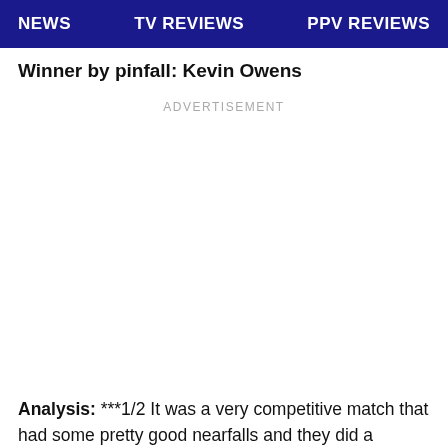NEWS   TV REVIEWS   PPV REVIEWS
Winner by pinfall: Kevin Owens
ADVERTISEMENT
Analysis: ***1/2 It was a very competitive match that had some pretty good nearfalls and they did a